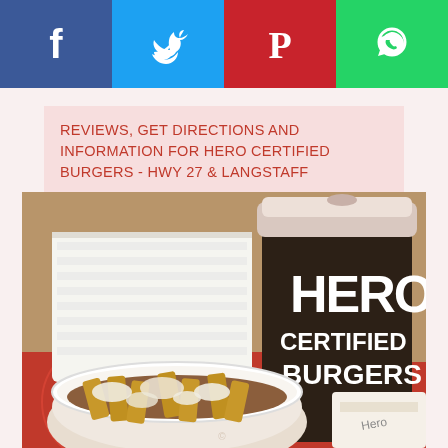[Figure (other): Social media share bar with Facebook (blue), Twitter (light blue), Pinterest (red), and WhatsApp (green) icons]
REVIEWS, GET DIRECTIONS AND INFORMATION FOR HERO CERTIFIED BURGERS - HWY 27 & LANGSTAFF
[Figure (photo): Photo of Hero Certified Burgers food: a dark branded cup with 'HERO CERTIFIED BURGERS' text in white, a bowl of poutine (fries with gravy and cheese curds), and a wrapped item, on a red tray with napkins]